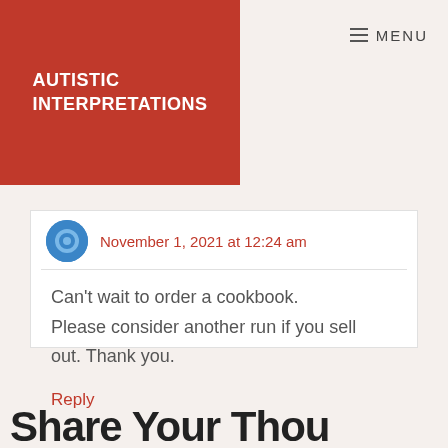AUTISTIC INTERPRETATIONS
MENU
November 1, 2021 at 12:24 am
Can't wait to order a cookbook. Please consider another run if you sell out. Thank you.
Reply
Share Your Thoughts